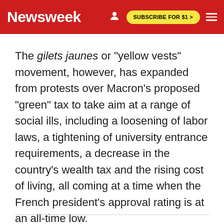Newsweek | SUBSCRIBE FOR $1 >
The gilets jaunes or "yellow vests" movement, however, has expanded from protests over Macron's proposed "green" tax to take aim at a range of social ills, including a loosening of labor laws, a tightening of university entrance requirements, a decrease in the country's wealth tax and the rising cost of living, all coming at a time when the French president's approval rating is at an all-time low.